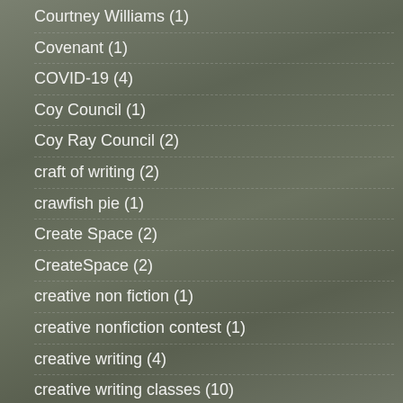Courtney Williams (1)
Covenant (1)
COVID-19 (4)
Coy Council (1)
Coy Ray Council (2)
craft of writing (2)
crawfish pie (1)
Create Space (2)
CreateSpace (2)
creative non fiction (1)
creative nonfiction contest (1)
creative writing (4)
creative writing classes (10)
creativity (1)
Criticism (1)
critique (1)
critique group (2)
cruise to Canada (2)
Cullowhee (1)